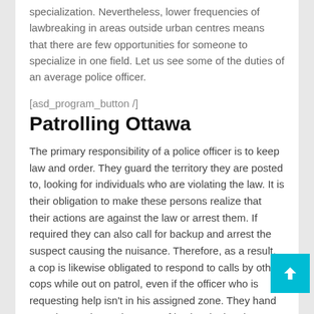specialization. Nevertheless, lower frequencies of lawbreaking in areas outside urban centres means that there are few opportunities for someone to specialize in one field. Let us see some of the duties of an average police officer.
[asd_program_button /]
Patrolling Ottawa
The primary responsibility of a police officer is to keep law and order. They guard the territory they are posted to, looking for individuals who are violating the law. It is their obligation to make these persons realize that their actions are against the law or arrest them. If required they can also call for backup and arrest the suspect causing the nuisance. Therefore, as a result, a cop is likewise obligated to respond to calls by other cops while out on patrol, even if the officer who is requesting help isn't in his assigned zone. They hand over the captive to the court of justice, letting them decide what penalty is fitting for the crime committed.
Provide Security